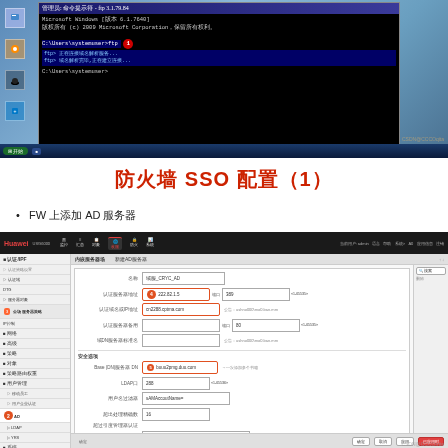[Figure (screenshot): Windows desktop with a command prompt window showing Microsoft Windows prompts with Chinese text and a red circle marker numbered 1]
防火墙 SSO 配置（1）
FW 上添加 AD 服务器
[Figure (screenshot): Huawei firewall management UI showing AD server configuration form with numbered callout circles 2-6, fields for server type, IP, domain, LDAP settings, admin credentials, and password fields]